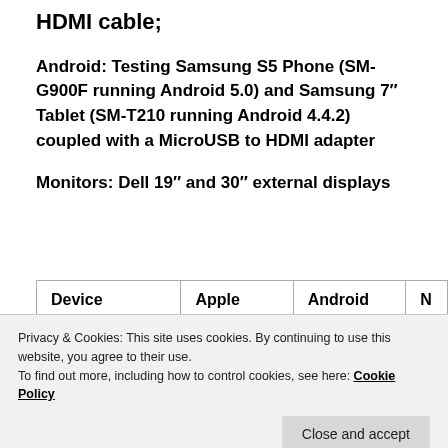HDMI cable;
Android: Testing Samsung S5 Phone (SM-G900F running Android 5.0) and Samsung 7″ Tablet (SM-T210 running Android 4.4.2) coupled with a MicroUSB to HDMI adapter
Monitors: Dell 19″ and 30″ external displays
| Device | Apple | Android | N… |
| --- | --- | --- | --- |
|  |  |  |  |
Privacy & Cookies: This site uses cookies. By continuing to use this website, you agree to their use.
To find out more, including how to control cookies, see here: Cookie Policy